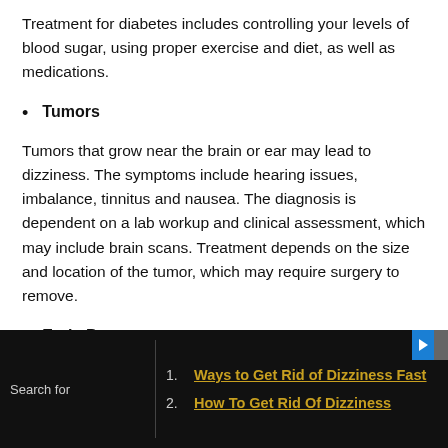Treatment for diabetes includes controlling your levels of blood sugar, using proper exercise and diet, as well as medications.
Tumors
Tumors that grow near the brain or ear may lead to dizziness. The symptoms include hearing issues, imbalance, tinnitus and nausea. The diagnosis is dependent on a lab workup and clinical assessment, which may include brain scans. Treatment depends on the size and location of the tumor, which may require surgery to remove.
Early Pregnancy
Search for
Ways to Get Rid of Dizziness Fast
How To Get Rid Of Dizziness